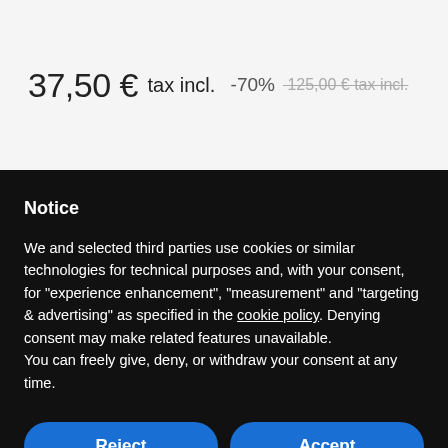37,50 € tax incl. -70% 125,00 € tax incl.
Notice
We and selected third parties use cookies or similar technologies for technical purposes and, with your consent, for "experience enhancement", "measurement" and "targeting & advertising" as specified in the cookie policy. Denying consent may make related features unavailable.
You can freely give, deny, or withdraw your consent at any time.
Reject
Accept
Learn more and customize